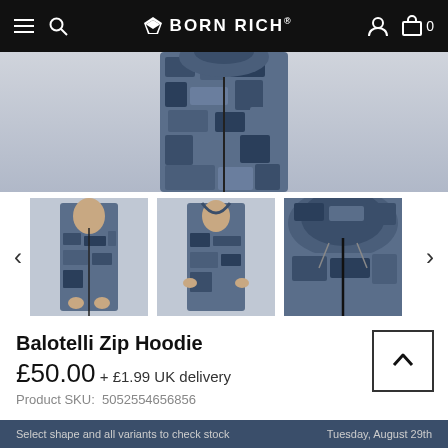BORN RICH®
[Figure (photo): Main product photo: man wearing blue camouflage zip hoodie, torso cropped]
[Figure (photo): Thumbnail 1: man wearing blue camouflage zip hoodie, front view]
[Figure (photo): Thumbnail 2: man wearing blue camouflage zip hoodie, back view]
[Figure (photo): Thumbnail 3: close-up of blue camouflage zip hoodie hood and zip]
Balotelli Zip Hoodie
£50.00 + £1.99 UK delivery
Product SKU:  5052554656856